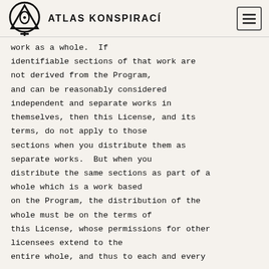ATLAS KONSPIRACÍ
work as a whole.  If identifiable sections of that work are not derived from the Program, and can be reasonably considered independent and separate works in themselves, then this License, and its terms, do not apply to those sections when you distribute them as separate works.  But when you distribute the same sections as part of a whole which is a work based on the Program, the distribution of the whole must be on the terms of this License, whose permissions for other licensees extend to the entire whole, and thus to each and every